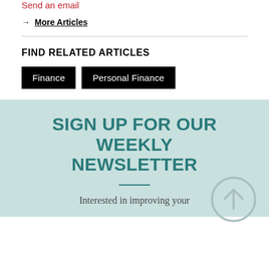Send an email
→ More Articles
FIND RELATED ARTICLES
Finance
Personal Finance
SIGN UP FOR OUR WEEKLY NEWSLETTER
Interested in improving your